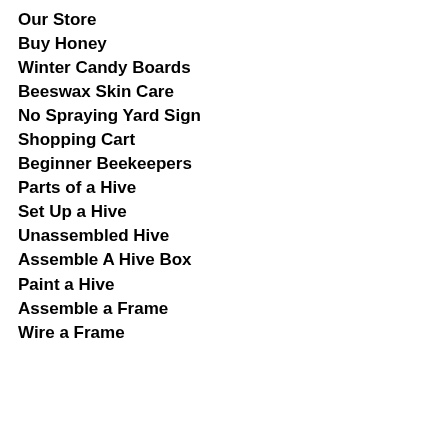Our Store
Buy Honey
Winter Candy Boards
Beeswax Skin Care
No Spraying Yard Sign
Shopping Cart
Beginner Beekeepers
Parts of a Hive
Set Up a Hive
Unassembled Hive
Assemble A Hive Box
Paint a Hive
Assemble a Frame
Wire a Frame